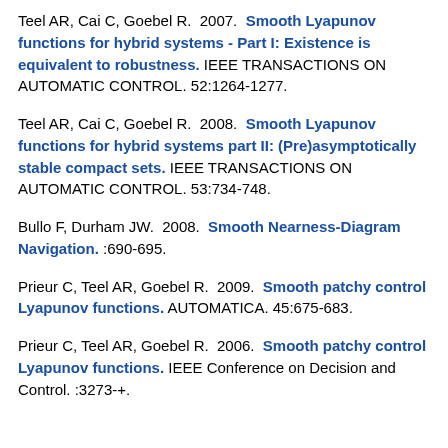Teel AR, Cai C, Goebel R.  2007.  Smooth Lyapunov functions for hybrid systems - Part I: Existence is equivalent to robustness. IEEE TRANSACTIONS ON AUTOMATIC CONTROL. 52:1264-1277.
Teel AR, Cai C, Goebel R.  2008.  Smooth Lyapunov functions for hybrid systems part II: (Pre)asymptotically stable compact sets. IEEE TRANSACTIONS ON AUTOMATIC CONTROL. 53:734-748.
Bullo F, Durham JW.  2008.  Smooth Nearness-Diagram Navigation. :690-695.
Prieur C, Teel AR, Goebel R.  2009.  Smooth patchy control Lyapunov functions. AUTOMATICA. 45:675-683.
Prieur C, Teel AR, Goebel R.  2006.  Smooth patchy control Lyapunov functions. IEEE Conference on Decision and Control. :3273-+.